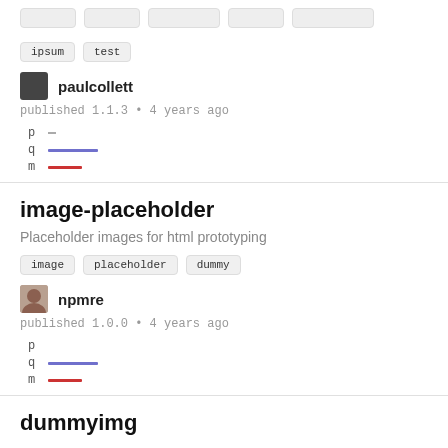ipsum
test
paulcollett
published 1.1.3 • 4 years ago
[Figure (infographic): p q m lines chart indicators showing short dash, purple line, red line]
image-placeholder
Placeholder images for html prototyping
image
placeholder
dummy
npmre
published 1.0.0 • 4 years ago
[Figure (infographic): p q m lines chart indicators showing no dash, purple line, red line]
dummyimg